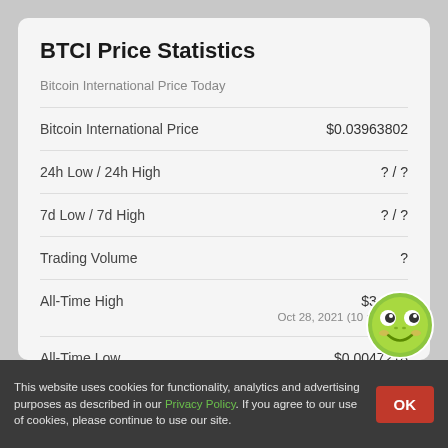BTCI Price Statistics
Bitcoin International Price Today
| Metric | Value |
| --- | --- |
| Bitcoin International Price | $0.03963802 |
| 24h Low / 24h High | ? / ? |
| 7d Low / 7d High | ? / ? |
| Trading Volume | ? |
| All-Time High | $3.04 ?
Oct 28, 2021 (10 months) |
| All-Time Low | $0.0047218 |
[Figure (illustration): Green frog mascot icon]
This website uses cookies for functionality, analytics and advertising purposes as described in our Privacy Policy. If you agree to our use of cookies, please continue to use our site.